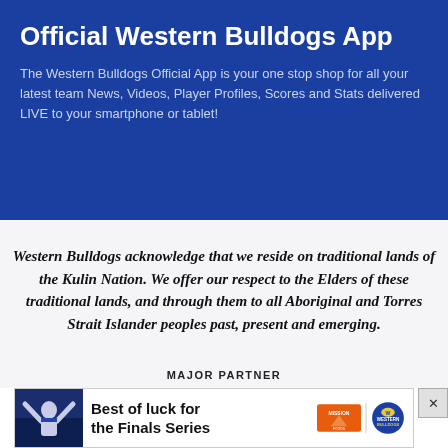Official Western Bulldogs App
The Western Bulldogs Official App is your one stop shop for all your latest team News, Videos, Player Profiles, Scores and Stats delivered LIVE to your smartphone or tablet!
Western Bulldogs acknowledge that we reside on traditional lands of the Kulin Nation. We offer our respect to the Elders of these traditional lands, and through them to all Aboriginal and Torres Strait Islander peoples past, present and emerging.
MAJOR PARTNER
[Figure (infographic): Advertisement banner: player image on left with text 'Best of luck for the Finals Series' and Mission and Western Bulldogs logos on right, with close button]
Best of luck for the Finals Series